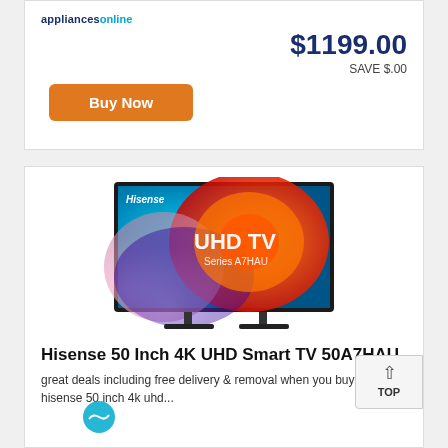appliancesonline
$1199.00
SAVE $.00
Buy Now
[Figure (photo): Hisense 50 Inch 4K UHD Smart TV 50A7HAU product image showing the TV with colorful swirl display and 'UHD TV Series A7HAU' text on screen]
Hisense 50 Inch 4K UHD Smart TV 50A7HAU
great deals including free delivery & removal when you buy the hisense 50 inch 4k uhd...